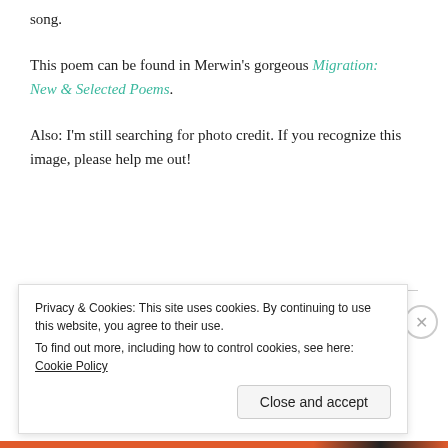song.
This poem can be found in Merwin's gorgeous Migration: New & Selected Poems.
Also: I'm still searching for photo credit. If you recognize this image, please help me out!
Privacy & Cookies: This site uses cookies. By continuing to use this website, you agree to their use.
To find out more, including how to control cookies, see here: Cookie Policy
Close and accept